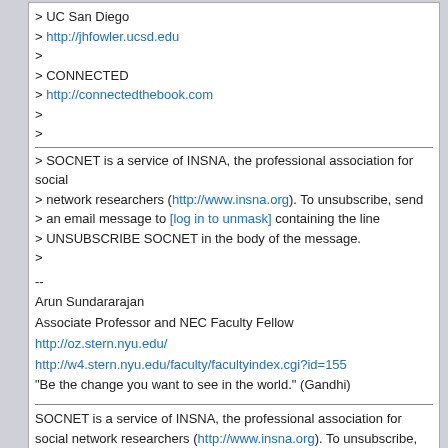> UC San Diego
> http://jhfowler.ucsd.edu
>
> CONNECTED
> http://connectedthebook.com
>
>
> SOCNET is a service of INSNA, the professional association for social
> network researchers (http://www.insna.org). To unsubscribe, send
> an email message to [log in to unmask] containing the line
> UNSUBSCRIBE SOCNET in the body of the message.
>
--
Arun Sundararajan
Associate Professor and NEC Faculty Fellow
http://oz.stern.nyu.edu/
http://w4.stern.nyu.edu/faculty/facultyindex.cgi?id=155
"Be the change you want to see in the world." (Gandhi)
SOCNET is a service of INSNA, the professional association for social network researchers (http://www.insna.org). To unsubscribe, send an email message to [log in to unmask] containing the line UNSUBSCRIBE SOCNET in the body of the message.
Top of Message | Previous Page | Permalink